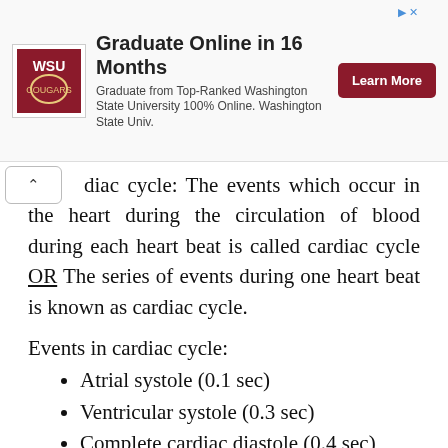[Figure (other): Advertisement banner: Washington State University logo, 'Graduate Online in 16 Months', 'Graduate from Top-Ranked Washington State University 100% Online. Washington State Univ.', and a dark red 'Learn More' button.]
diac cycle: The events which occur in the heart during the circulation of blood during each heart beat is called cardiac cycle OR The series of events during one heart beat is known as cardiac cycle.
Events in cardiac cycle:
Atrial systole (0.1 sec)
Ventricular systole (0.3 sec)
Complete cardiac diastole (0.4 sec)
Description of cardiac cycle (2 marks)